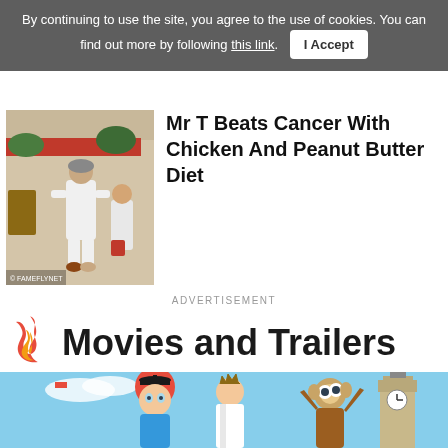By continuing to use the site, you agree to the use of cookies. You can find out more by following this link. I Accept
[Figure (photo): Photo of a man dressed in white walking on a sidewalk outside a restaurant, with red awning and foliage visible in background. Small watermark logo visible at bottom left of image.]
Mr T Beats Cancer With Chicken And Peanut Butter Diet
ADVERTISEMENT
🔥 Movies and Trailers
[Figure (photo): Animated movie poster image showing cartoon characters: a girl with red hair in graduation cap, a lanky boy in a white lab coat, and a small monkey-like creature, with a tower (Big Ben) visible in the background against a blue sky.]